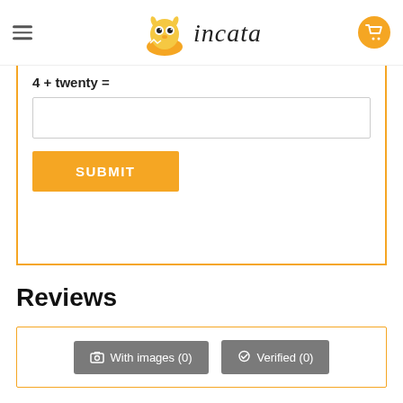incata
4 + twenty =
SUBMIT
Reviews
With images (0)   Verified (0)